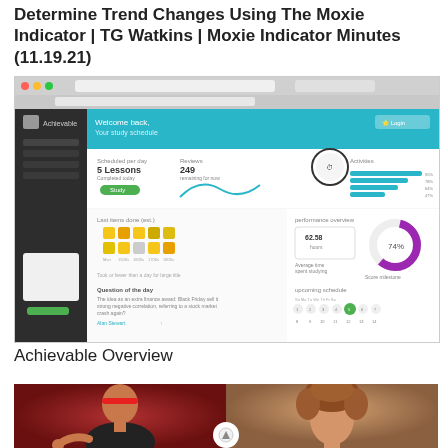Determine Trend Changes Using The Moxie Indicator | TG Watkins | Moxie Indicator Minutes (11.19.21)
[Figure (screenshot): Screenshot of the Achievable web application dashboard showing study progress, statistics, horizontal bar charts, a circular progress indicator, question of the day, and a calendar view.]
Achievable Overview
[Figure (photo): Two side-by-side photos: left shows a man with a red headband against a dark red background; right shows a person with styled reddish-brown hair against a warm background. A circular icon sits at the bottom center dividing the two photos.]